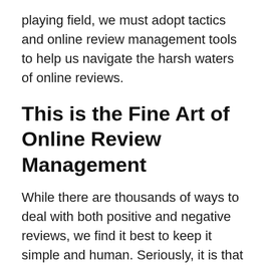playing field, we must adopt tactics and online review management tools to help us navigate the harsh waters of online reviews.
This is the Fine Art of Online Review Management
While there are thousands of ways to deal with both positive and negative reviews, we find it best to keep it simple and human. Seriously, it is that easy! Your goal is to attract positive reviews, keep note of all current and new reviews, and finally disarm and rectify negative feedback that could lead to a publicly available online